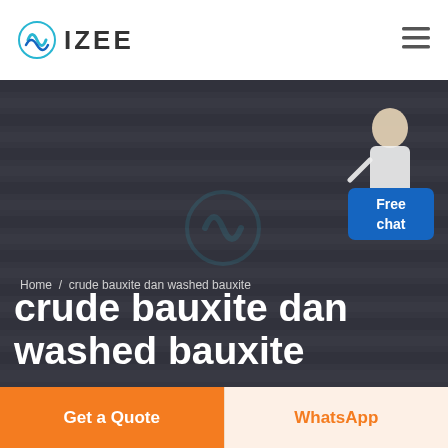IZEE
[Figure (photo): Dark hero banner showing a person wearing a black and white striped shirt, with a dark overlay. An IZEE watermark logo is faintly visible in the center. A customer service representative figure appears in the top right with a 'Free chat' blue box overlay.]
Home / crude bauxite dan washed bauxite
crude bauxite dan washed bauxite
Get a Quote
WhatsApp